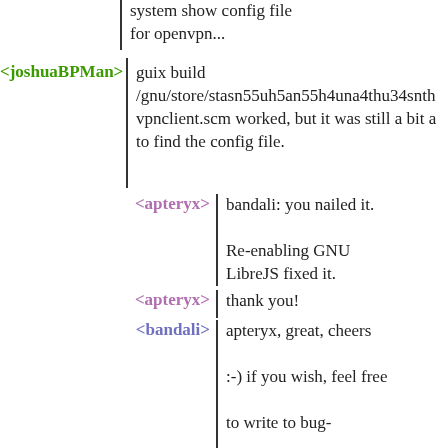system show config file for openvpn...
<joshuaBPMan> guix build /gnu/store/stasn55uh5an55h4una4thu34snth vpnclient.scm worked, but it was still a bit a to find the config file.
<apteryx> bandali: you nailed it. Re-enabling GNU LibreJS fixed it.
<apteryx> thank you!
<bandali> apteryx, great, cheers :-) if you wish, feel free to write to bug-gnuzilla@gnu.org about it, but i have a hunch that we may not